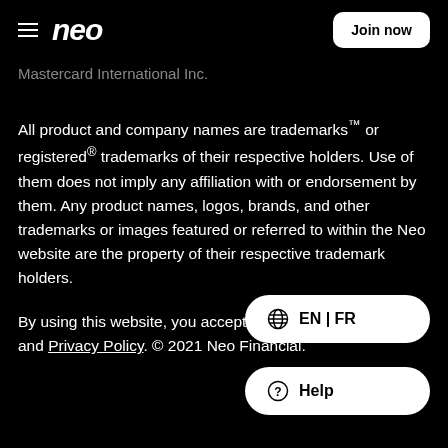neo | Join now
Mastercard International Inc.
All product and company names are trademarks™ or registered® trademarks of their respective holders. Use of them does not imply any affiliation with or endorsement by them. Any product names, logos, brands, and other trademarks or images featured or referred to within the Neo website are the property of their respective trademark holders.
By using this website, you accept our Terms and Conditions and Privacy Policy. © 2021 Neo Financial.
EN | FR
Help